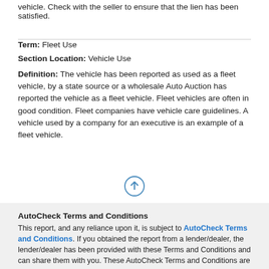vehicle. Check with the seller to ensure that the lien has been satisfied.
Term: Fleet Use
Section Location: Vehicle Use
Definition: The vehicle has been reported as used as a fleet vehicle, by a state source or a wholesale Auto Auction has reported the vehicle as a fleet vehicle. Fleet vehicles are often in good condition. Fleet companies have vehicle care guidelines. A vehicle used by a company for an executive is an example of a fleet vehicle.
[Figure (other): Up arrow icon in a circle]
AutoCheck Terms and Conditions
This report, and any reliance upon it, is subject to AutoCheck Terms and Conditions. If you obtained the report from a lender/dealer, the lender/dealer has been provided with these Terms and Conditions and can share them with you. These AutoCheck Terms and Conditions are also available at any time at www.autocheck.com/terms or by writing to Experian: Experian Automotive C/O AutoCheck Customer Service 955 American Lane Schaumburg, IL 60173.
Buyback Protection Terms and Conditions